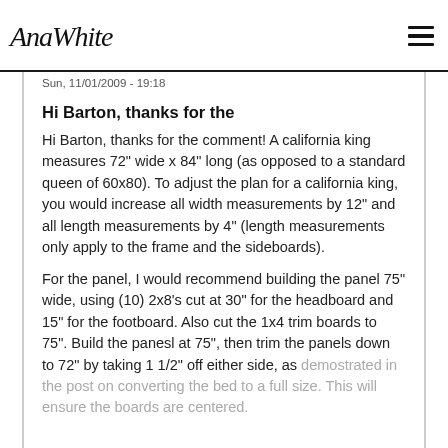AnaWhite
Sun, 11/01/2009 - 19:18
Hi Barton, thanks for the
Hi Barton, thanks for the comment! A california king measures 72" wide x 84" long (as opposed to a standard queen of 60x80). To adjust the plan for a california king, you would increase all width measurements by 12" and all length measurements by 4" (length measurements only apply to the frame and the sideboards).
For the panel, I would recommend building the panel 75" wide, using (10) 2x8's cut at 30" for the headboard and 15" for the footboard. Also cut the 1x4 trim boards to 75". Build the panesl at 75", then trim the panels down to 72" by taking 1 1/2" off either side, as demostrated in the post on converting the bed to a full size. This will ensure the boards are centered.